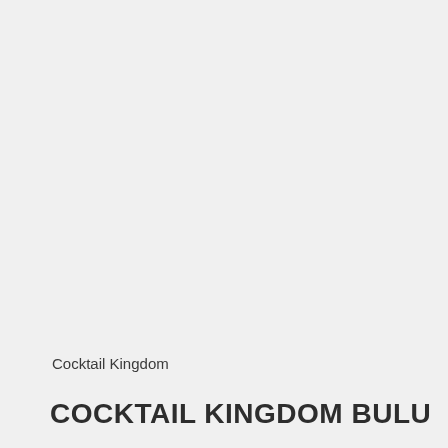Cocktail Kingdom
COCKTAIL KINGDOM BULU